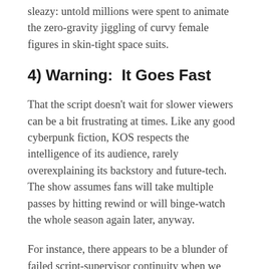sleazy: untold millions were spent to animate the zero-gravity jiggling of curvy female figures in skin-tight space suits.
4) Warning:  It Goes Fast
That the script doesn't wait for slower viewers can be a bit frustrating at times. Like any good cyberpunk fiction, KOS respects the intelligence of its audience, rarely overexplaining its backstory and future-tech. The show assumes fans will take multiple passes by hitting rewind or will binge-watch the whole season again later, anyway.
For instance, there appears to be a blunder of failed script-supervisor continuity when we watch a pilot eject from her exploding robot in only her space suit.